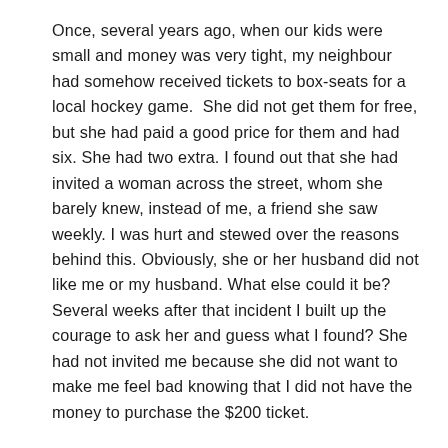Once, several years ago, when our kids were small and money was very tight, my neighbour had somehow received tickets to box-seats for a local hockey game.  She did not get them for free, but she had paid a good price for them and had six. She had two extra. I found out that she had invited a woman across the street, whom she barely knew, instead of me, a friend she saw weekly. I was hurt and stewed over the reasons behind this. Obviously, she or her husband did not like me or my husband. What else could it be? Several weeks after that incident I built up the courage to ask her and guess what I found? She had not invited me because she did not want to make me feel bad knowing that I did not have the money to purchase the $200 ticket.